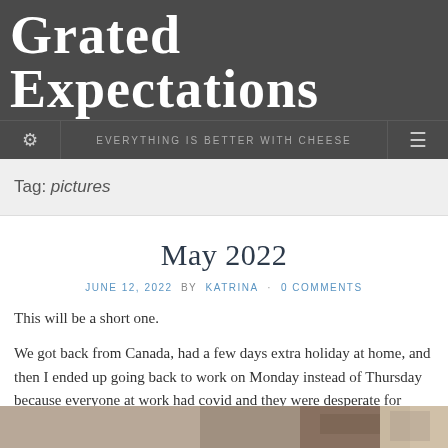Grated Expectations
EVERYTHING IS BETTER WITH CHEESE
Tag: pictures
May 2022
JUNE 12, 2022 BY KATRINA · 0 COMMENTS
This will be a short one.
We got back from Canada, had a few days extra holiday at home, and then I ended up going back to work on Monday instead of Thursday because everyone at work had covid and they were desperate for help.
[Figure (photo): Partial photo visible at bottom of page]